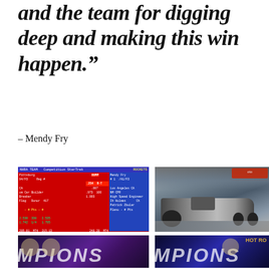and the team for digging deep and making this win happen.”
– Mendy Fry
[Figure (screenshot): Drag racing competition scoresheet/timing screen showing red and blue sections with race data including times, speeds, and competitor information for Mendy Fry]
[Figure (photo): Photograph of a dragster race car on the track with crowd in the background]
[Figure (photo): Photograph with CHAMPIONS text/banner in purple tones with people celebrating]
[Figure (photo): Photograph with CHAMPIONS and HOT ROD text/banner in dark blue tones with people celebrating]